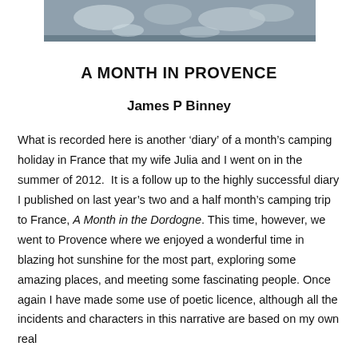[Figure (photo): Partial photograph visible at top of page, appears to show dishes or bowls, cropped]
A MONTH IN PROVENCE
James P Binney
What is recorded here is another ‘diary’ of a month’s camping holiday in France that my wife Julia and I went on in the summer of 2012.  It is a follow up to the highly successful diary I published on last year’s two and a half month’s camping trip to France, A Month in the Dordogne. This time, however, we went to Provence where we enjoyed a wonderful time in blazing hot sunshine for the most part, exploring some amazing places, and meeting some fascinating people. Once again I have made some use of poetic licence, although all the incidents and characters in this narrative are based on my own real